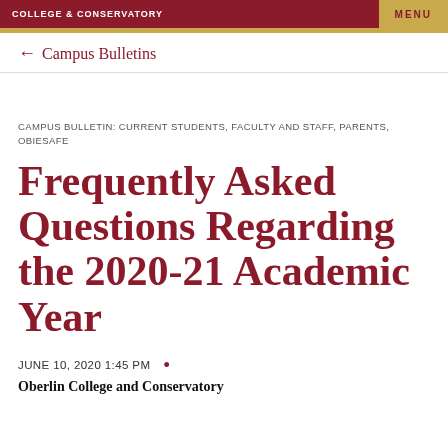COLLEGE & CONSERVATORY
MENU
Campus Bulletins
CAMPUS BULLETIN: CURRENT STUDENTS, FACULTY AND STAFF, PARENTS, OBIESAFE
Frequently Asked Questions Regarding the 2020-21 Academic Year
JUNE 10, 2020 1:45 PM •
Oberlin College and Conservatory